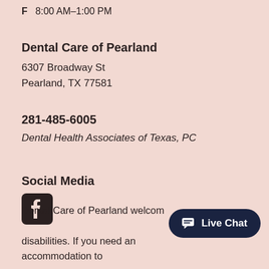F   8:00 AM–1:00 PM
Dental Care of Pearland
6307 Broadway St
Pearland, TX 77581
281-485-6005
Dental Health Associates of Texas, PC
Social Media
[Figure (logo): Facebook icon (rounded square with white f logo)]
[Figure (infographic): Live Chat button with chat icon]
Dental Care of Pearland welcom... disabilities. If you need an accommodation to